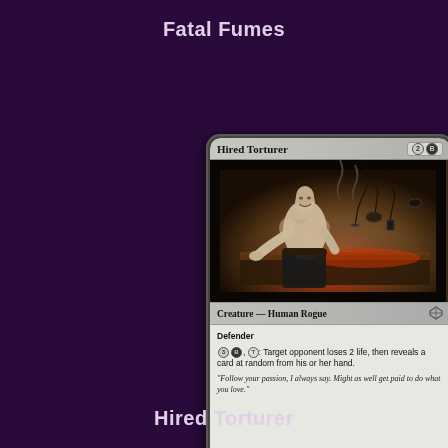Fatal Fumes
[Figure (illustration): Magic: The Gathering card named 'Hired Torturer'. A pale, shirtless bald man stands over a table with torture implements. Black border card with dark fantasy art. Type: Creature — Human Rogue. Cost: 2B. Abilities: Defender; 3B, T: Target opponent loses 2 life, then reveals a card at random from his or her hand. Flavor text: 'Follow your passion, I always say. Might as well get paid to do what you love.' Power/Toughness: 2/3. Artist: Winona Nelson. Set: Dragon's Maze 24/156.]
Hired Torturer